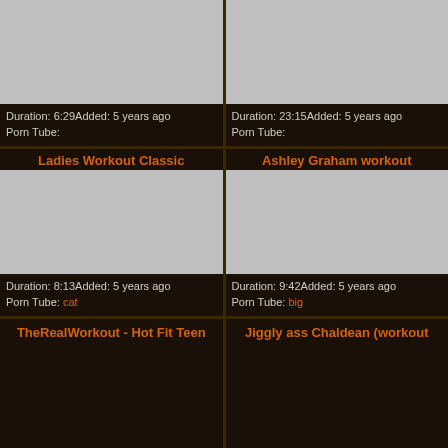[Figure (screenshot): Video thumbnail placeholder (gray rectangle), top-left card]
Duration: 6:29Added: 5 years ago
Porn Tube:
[Figure (screenshot): Video thumbnail placeholder (gray rectangle), top-right card]
Duration: 23:15Added: 5 years ago
Porn Tube:
Ladies Workout Classic
[Figure (screenshot): Video thumbnail placeholder (gray rectangle), middle-left card]
Duration: 8:13Added: 5 years ago
Porn Tube: cat
Ashley Graham workout
[Figure (screenshot): Video thumbnail placeholder (gray rectangle), middle-right card]
Duration: 9:42Added: 5 years ago
Porn Tube: big
TheRealWorkout - Hot Fit Teen
Jiggly ass Chaldean (workout